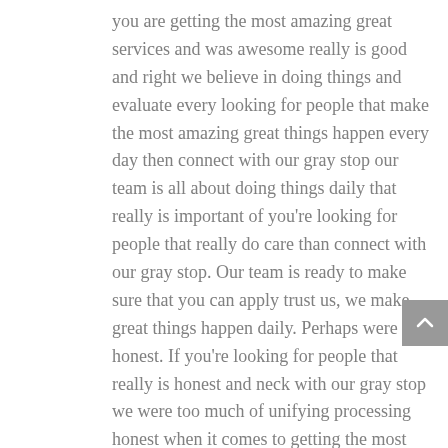you are getting the most amazing great services and was awesome really is good and right we believe in doing things and evaluate every looking for people that make the most amazing great things happen every day then connect with our gray stop our team is all about doing things daily that really is important of you're looking for people that really do care than connect with our gray stop. Our team is ready to make sure that you can apply trust us, we make great things happen daily. Perhaps were honest. If you're looking for people that really is honest and neck with our gray stop we were too much of unifying processing honest when it comes to getting the most amazing great service and results that really is important
Ready to help you succeed. If you're looking for people that really is ready to help you succeed then it comes with great problems. When...